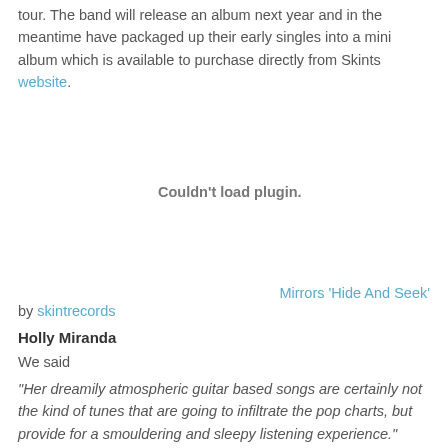tour. The band will release an album next year and in the meantime have packaged up their early singles into a mini album which is available to purchase directly from Skints website.
[Figure (other): Embedded media plugin area showing 'Couldn't load plugin.' message]
Mirrors 'Hide And Seek'
by skintrecords
Holly Miranda
We said
“Her dreamily atmospheric guitar based songs are certainly not the kind of tunes that are going to infiltrate the pop charts, but provide for a smouldering and sleepy listening experience.”